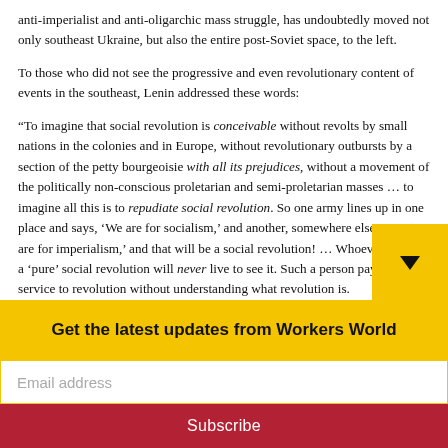anti-imperialist and anti-oligarchic mass struggle, has undoubtedly moved not only southeast Ukraine, but also the entire post-Soviet space, to the left.
To those who did not see the progressive and even revolutionary content of events in the southeast, Lenin addressed these words:
“To imagine that social revolution is conceivable without revolts by small nations in the colonies and in Europe, without revolutionary outbursts by a section of the petty bourgeoisie with all its prejudices, without a movement of the politically non-conscious proletarian and semi-proletarian masses … to imagine all this is to repudiate social revolution. So one army lines up in one place and says, ‘We are for socialism,’ and another, somewhere else says, ‘We are for imperialism,’ and that will be a social revolution! … Whoever expects a ‘pure’ social revolution will never live to see it. Such a person pays lip-service to revolution without understanding what revolution is.
Get the latest updates from Workers World
Email address
Subscribe